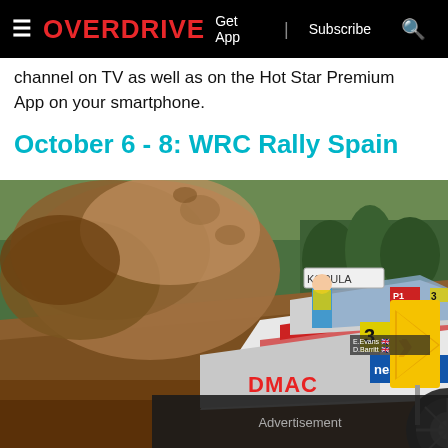≡ OVERDRIVE  Get App | Subscribe 🔍
channel on TV as well as on the Hot Star Premium App on your smartphone.
October 6 - 8: WRC Rally Spain
[Figure (photo): A WRC rally car number 3 (DMACK / Neste livery, E. Evans) kicking up dirt on a gravel stage, spectators and road signs visible in background. Advertisement overlay at bottom.]